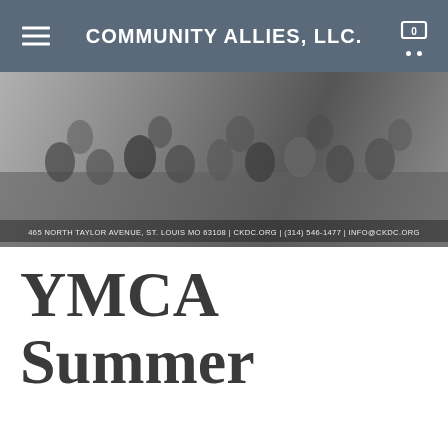COMMUNITY ALLIES, LLC.
[Figure (photo): Group photo of children and adults posing together in a gymnasium or dance studio, with text overlay: 465 NORTH TAYLOR AVENUE, ST. LOUIS MO 63108 | CKDC.ORG | (314) 546-1477 | INFO@CKDC.ORG]
YMCA Summer Camps and April B